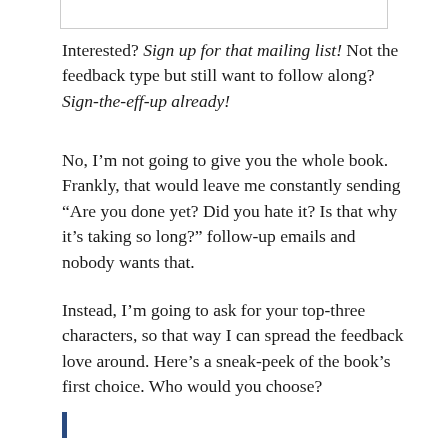Interested? Sign up for that mailing list! Not the feedback type but still want to follow along? Sign-the-eff-up already!
No, I’m not going to give you the whole book. Frankly, that would leave me constantly sending “Are you done yet? Did you hate it? Is that why it’s taking so long?” follow-up emails and nobody wants that.
Instead, I’m going to ask for your top-three characters, so that way I can spread the feedback love around. Here’s a sneak-peek of the book’s first choice. Who would you choose?